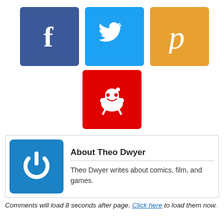[Figure (logo): Row of social media icon buttons: Facebook (dark blue with 'f'), Twitter (light blue with bird), Pinterest (orange with 'p')]
[Figure (logo): Reddit icon button: red square with white Reddit alien mascot]
[Figure (illustration): Author avatar: blue rounded square with white power button icon]
About Theo Dwyer
Theo Dwyer writes about comics, film, and games.
Comments will load 8 seconds after page. Click here to load them now.